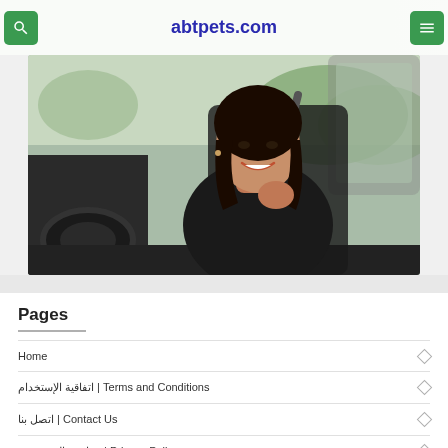abtpets.com
[Figure (photo): Woman sitting in car, smiling, fastening seatbelt, wearing black jacket]
Pages
Home
اتفاقية الإستخدام | Terms and Conditions
اتصل بنا | Contact Us
سياسية الخصوصية | Privacy Policy